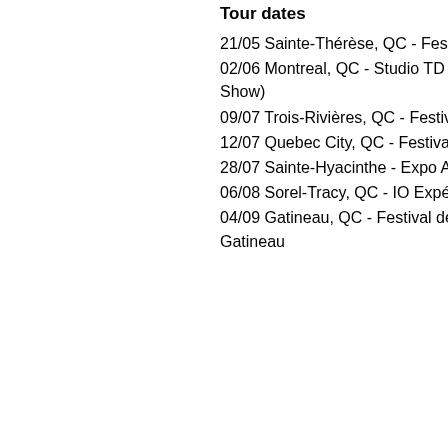Tour dates
21/05 Sainte-Thérèse, QC - Festiva
02/06 Montreal, QC - Studio TD (Th Show)
09/07 Trois-Rivières, QC - Festivoix
12/07 Quebec City, QC - Festival d'é
28/07 Sainte-Hyacinthe - Expo Agric
06/08 Sorel-Tracy, QC - IO Expérien
04/09 Gatineau, QC - Festival de m Gatineau